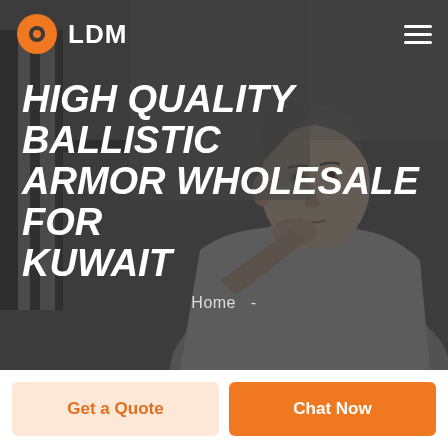[Figure (photo): Grayscale/dark-tinted hero background photo of a man sitting and resting his chin on his hand, in an indoor setting with windows behind him.]
LDM
HIGH QUALITY BALLISTIC ARMOR WHOLESALE FOR KUWAIT
Home  -
Get a Quote
Chat Now